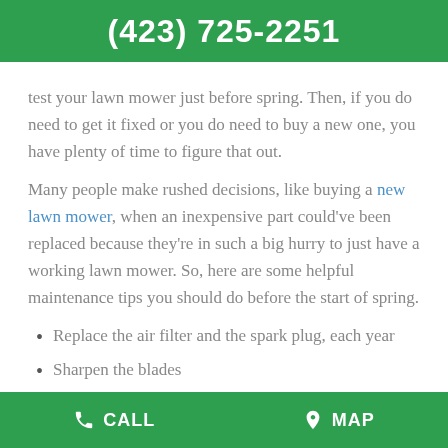(423) 725-2251
test your lawn mower just before spring. Then, if you do need to get it fixed or you do need to buy a new one, you have plenty of time to figure that out.
Many people make rushed decisions, like buying a new lawn mower, when an inexpensive part could've been replaced because they're in such a big hurry to just have a working lawn mower. So, here are some helpful maintenance tips you should do before the start of spring.
Replace the air filter and the spark plug, each year
Sharpen the blades
Drain the oil and replace it with new oil
CALL   MAP